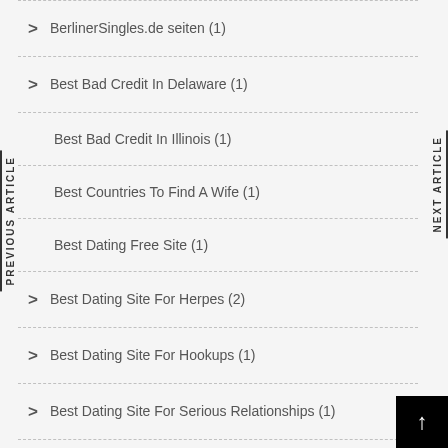BerlinerSingles.de seiten (1)
Best Bad Credit In Delaware (1)
Best Bad Credit In Illinois (1)
Best Countries To Find A Wife (1)
Best Dating Free Site (1)
Best Dating Site For Herpes (2)
Best Dating Site For Hookups (1)
Best Dating Site For Serious Relationships (1)